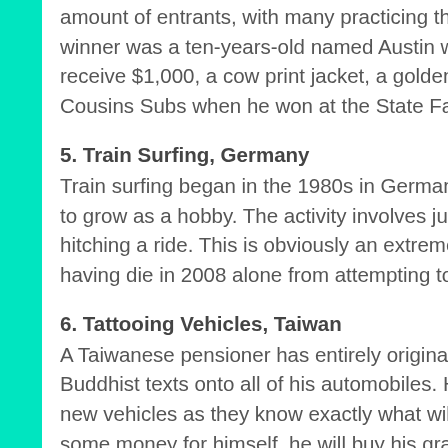amount of entrants, with many practicing the ho... winner was a ten-years-old named Austin who s... receive $1,000, a cow print jacket, a golden cow... Cousins Subs when he won at the State Fair fo...
5. Train Surfing, Germany
Train surfing began in the 1980s in Germany, a... to grow as a hobby. The activity involves jumpin... hitching a ride. This is obviously an extremely u... having die in 2008 alone from attempting to par...
6. Tattooing Vehicles, Taiwan
A Taiwanese pensioner has entirely original hob... Buddhist texts onto all of his automobiles. His fa... new vehicles as they know exactly what will hap... some money for himself, he will buy his granda... hobby.